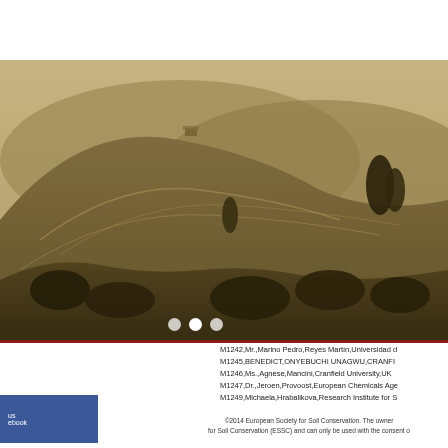[Figure (photo): A scenic landscape photograph of rolling hills and farmland under warm golden-brown light, with trees in the foreground and a structure visible on a hilltop.]
M1242,Mr.,Marino Pedro,Reyes Martín,Universidad d M1245,BENEDICT,ONYEBUCHI UNAGWU,CRANFI M1246,Ms.,Agnese,Mancini,Cranfield University,UK M1247,Dr.,Jeroen,Provoost,European Chemicals Age M1249,Michaela,Hrabalikova,Research Institute for S
©2014 European Society for Soil Conservation. The owner for Soil Conservation (ESSC) and can only be used with the consent o